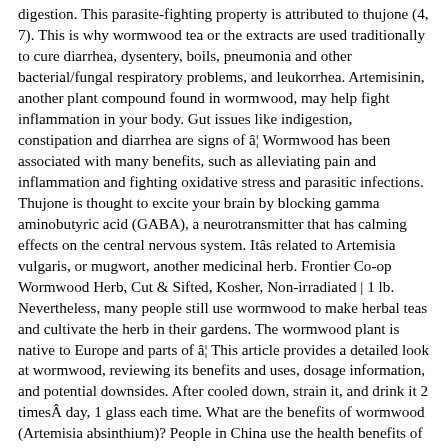digestion. This parasite-fighting property is attributed to thujone (4, 7). This is why wormwood tea or the extracts are used traditionally to cure diarrhea, dysentery, boils, pneumonia and other bacterial/fungal respiratory problems, and leukorrhea. Artemisinin, another plant compound found in wormwood, may help fight inflammation in your body. Gut issues like indigestion, constipation and diarrhea are signs of â¦ Wormwood has been associated with many benefits, such as alleviating pain and inflammation and fighting oxidative stress and parasitic infections. Thujone is thought to excite your brain by blocking gamma aminobutyric acid (GABA), a neurotransmitter that has calming effects on the central nervous system. Itâs related to Artemisia vulgaris, or mugwort, another medicinal herb. Frontier Co-op Wormwood Herb, Cut & Sifted, Kosher, Non-irradiated | 1 lb. Nevertheless, many people still use wormwood to make herbal teas and cultivate the herb in their gardens. The wormwood plant is native to Europe and parts of â¦ This article provides a detailed look at wormwood, reviewing its benefits and uses, dosage information, and potential downsides. After cooled down, strain it, and drink it 2 timesÂ day, 1 glass each time. What are the benefits of wormwood (Artemisia absinthium)? People in China use the health benefits of wormwood tea to cure âwomenâs diseaseâ or leukorrhea. (1 lb. Artemisia absinthium is an odorous, perennial that belongs to the Asteraceae or Compositaefamily, more commonly known as the daisy family. Treatment of malaria . The Potential Health Benefits of Wormwood. If using it topically be